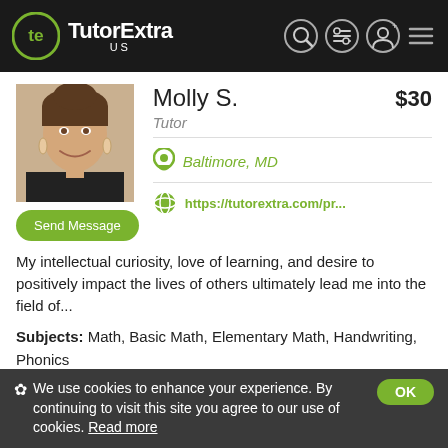TutorExtra US
[Figure (photo): Photo of tutor Molly S., a young woman smiling, wearing dark top and earrings]
Molly S.
$30
Tutor
Baltimore, MD
https://tutorextra.com/pr...
Send Message
My intellectual curiosity, love of learning, and desire to positively impact the lives of others ultimately lead me into the field of...
Subjects: Math, Basic Math, Elementary Math, Handwriting, Phonics
Latrina B.
We use cookies to enhance your experience. By continuing to visit this site you agree to our use of cookies. Read more OK